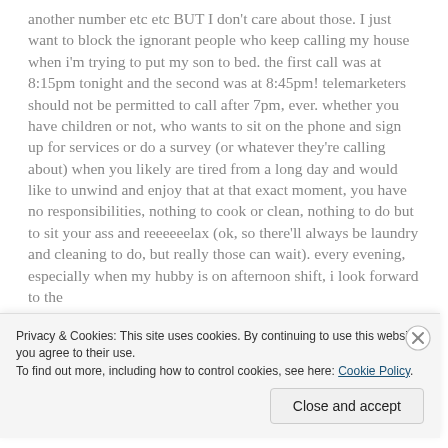another number etc etc BUT I don't care about those. I just want to block the ignorant people who keep calling my house when i'm trying to put my son to bed. the first call was at 8:15pm tonight and the second was at 8:45pm! telemarketers should not be permitted to call after 7pm, ever. whether you have children or not, who wants to sit on the phone and sign up for services or do a survey (or whatever they're calling about) when you likely are tired from a long day and would like to unwind and enjoy that at that exact moment, you have no responsibilities, nothing to cook or clean, nothing to do but to sit your ass and reeeeeelax (ok, so there'll always be laundry and cleaning to do, but really those can wait). every evening, especially when my hubby is on afternoon shift, i look forward to the
Privacy & Cookies: This site uses cookies. By continuing to use this website, you agree to their use.
To find out more, including how to control cookies, see here: Cookie Policy
Close and accept